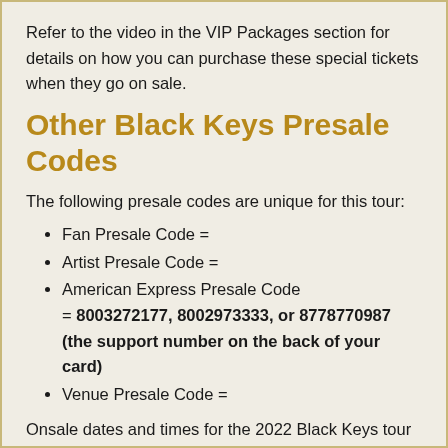Refer to the video in the VIP Packages section for details on how you can purchase these special tickets when they go on sale.
Other Black Keys Presale Codes
The following presale codes are unique for this tour:
Fan Presale Code =
Artist Presale Code =
American Express Presale Code = 8003272177, 8002973333, or 8778770987 (the support number on the back of your card)
Venue Presale Code =
Onsale dates and times for the 2022 Black Keys tour vary for each date, so use the tour date